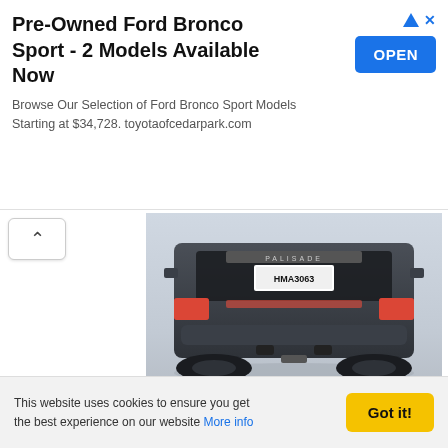[Figure (other): Advertisement banner for Pre-Owned Ford Bronco Sport with OPEN button, triangle ad icon and X close button]
[Figure (photo): Rear view of a dark gray Hyundai Palisade SUV showing license plate HMA3063, dual exhaust, and rear bumper on light background]
[Figure (photo): Side/rear quarter view of a dark gray Hyundai Palisade SUV against a desert sunset background with mountains]
This website uses cookies to ensure you get the best experience on our website More info
Got it!